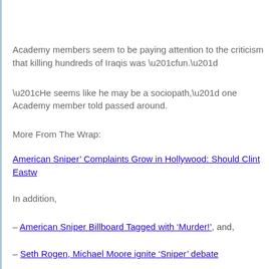Academy members seem to be paying attention to the criticism that killing hundreds of Iraqis was “fun.”
“He seems like he may be a sociopath,” one Academy member told passed around.
More From The Wrap:
American Sniper’ Complaints Grow in Hollywood: Should Clint Eastw
In addition,
– American Sniper Billboard Tagged with ‘Murder!’, and,
– Seth Rogen, Michael Moore ignite ‘Sniper’ debate